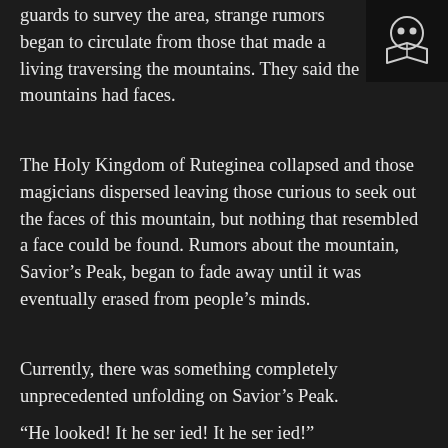[Figure (logo): A circular icon with two dots (eyes) above an open book, on a dark background — a reading app or ebook logo]
guards to survey the area, strange rumors began to circulate from those that made a living traversing the mountains. They said the mountains had faces.
The Holy Kingdom of Ruteginea collapsed and those magicians dispersed leaving those curious to seek out the faces of this mountain, but nothing that resembled a face could be found. Rumors about the mountain, Savior’s Peak, began to fade away until it was eventually erased from people’s minds.
Currently, there was something completely unprecedented unfolding on Savior’s Peak.
“He looked! It he ser ied! It he ser ied!”